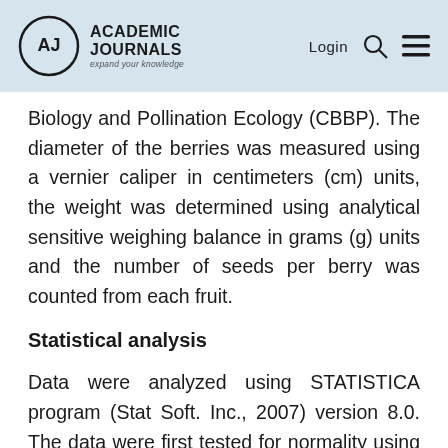Academic Journals — expand your knowledge | Login
Biology and Pollination Ecology (CBBP). The diameter of the berries was measured using a vernier caliper in centimeters (cm) units, the weight was determined using analytical sensitive weighing balance in grams (g) units and the number of seeds per berry was counted from each fruit.
Statistical analysis
Data were analyzed using STATISTICA program (Stat Soft. Inc., 2007) version 8.0. The data were first tested for normality using Shapiro-Wilk a W test and histograms. Where